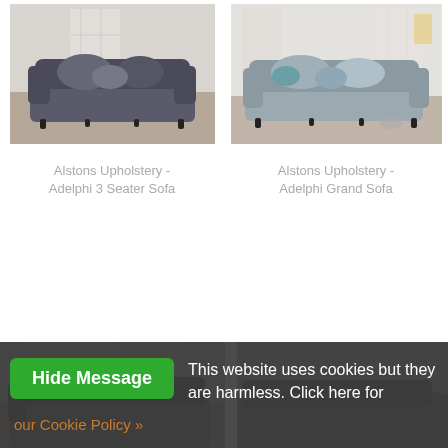[Figure (photo): Photo of Alstons Upholstery Adelphi 3 Seater Sofa, a crushed velvet dark grey sofa in a room setting]
Alstons Upholstery - Adelphi 3 Seater Sofa
[Figure (photo): Photo of Alstons Upholstery Adelphi Grand Sofa, a crushed velvet light grey/blue sofa in a bright room setting]
Alstons Upholstery - Adelphi Grand Sofa
[Figure (photo): Partial photo of another sofa product, bottom left, partially obscured by cookie banner]
[Figure (photo): Partial photo of another sofa product, bottom right, partially obscured by cookie banner]
Hide Message   This website uses cookies but they are harmless.  Click here for our Cookie Policy »